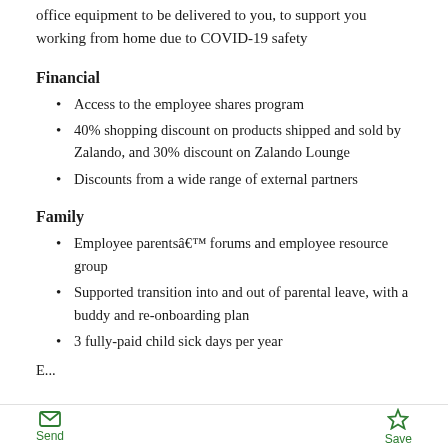office equipment to be delivered to you, to support you working from home due to COVID-19 safety
Financial
Access to the employee shares program
40% shopping discount on products shipped and sold by Zalando, and 30% discount on Zalando Lounge
Discounts from a wide range of external partners
Family
Employee parentsâ€™ forums and employee resource group
Supported transition into and out of parental leave, with a buddy and re-onboarding plan
3 fully-paid child sick days per year
E...
Send   Save